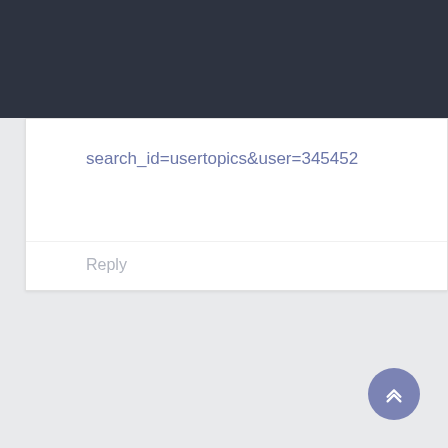search_id=usertopics&user=345452
Reply